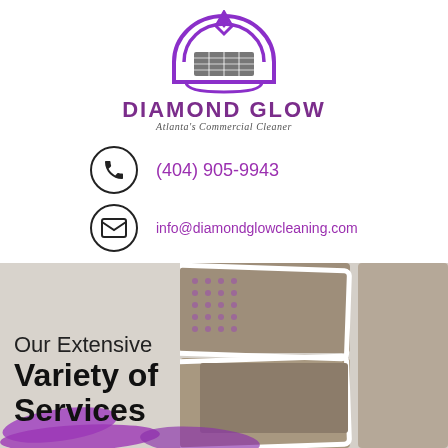[Figure (logo): Diamond Glow cleaning company logo: purple arch/diamond shape with stylized building/grid icon]
DIAMOND GLOW
Atlanta's Commercial Cleaner
(404) 905-9943
info@diamondglowcleaning.com
BOOK NOW!
[Figure (photo): Collage of cleaning service photos: carpets, windows, brushes on a grey/beige background with purple paint brush strokes and purple dot pattern. Text overlay reads 'Our Extensive Variety of Services']
Our Extensive
Variety of
Services